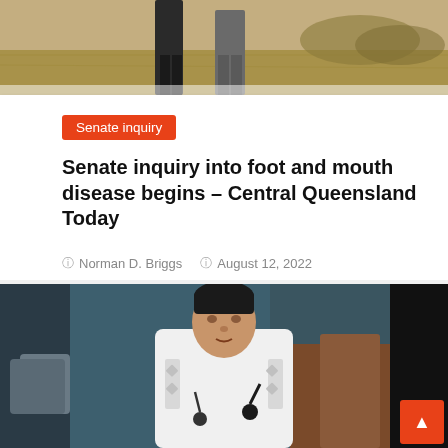[Figure (photo): Outdoor photo showing two people standing in a dry field, partial view from waist down]
Senate inquiry
Senate inquiry into foot and mouth disease begins – Central Queensland Today
Norman D. Briggs   August 12, 2022
[Figure (photo): Man in white barong tagalog speaking at a podium/microphone in what appears to be a senate or government hearing room with blue walls and wooden furniture]